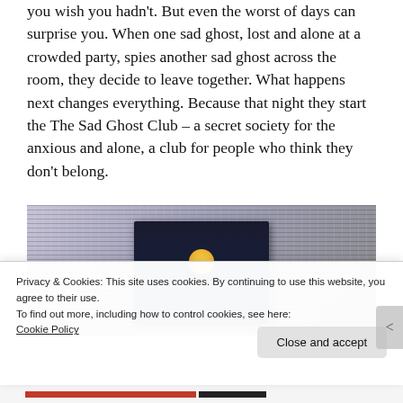you wish you hadn't. But even the worst of days can surprise you. When one sad ghost, lost and alone at a crowded party, spies another sad ghost across the room, they decide to leave together. What happens next changes everything. Because that night they start the The Sad Ghost Club – a secret society for the anxious and alone, a club for people who think they don't belong.
[Figure (photo): Photo of a book by Lize Meddings, showing a dark book cover with a yellow moon, surrounded by patterned fabric/textiles]
Privacy & Cookies: This site uses cookies. By continuing to use this website, you agree to their use.
To find out more, including how to control cookies, see here: Cookie Policy
Close and accept